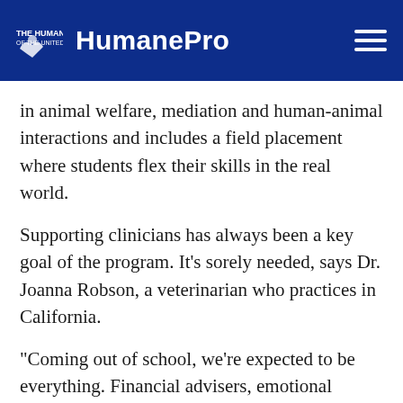THE HUMANE SOCIETY OF THE UNITED STATES — HumanePro
in animal welfare, mediation and human-animal interactions and includes a field placement where students flex their skills in the real world.
Supporting clinicians has always been a key goal of the program. It's sorely needed, says Dr. Joanna Robson, a veterinarian who practices in California.
“Coming out of school, we’re expected to be everything. Financial advisers, emotional supporters, diagnosticians … and we can’t possibly wear all of those hats and wear them well,” Robson says.
In a clinical setting, veterinary social workers can take the pressure off practitioners by wearing some of those hats: